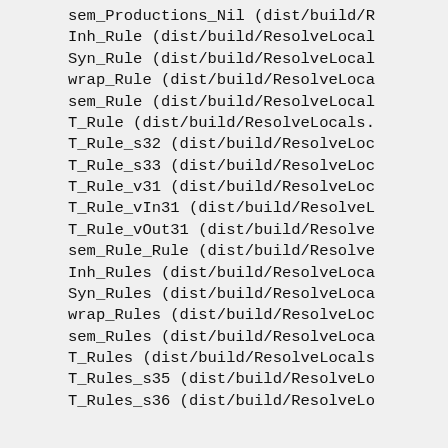sem_Productions_Nil (dist/build/R
Inh_Rule (dist/build/ResolveLocal
Syn_Rule (dist/build/ResolveLocal
wrap_Rule (dist/build/ResolveLoca
sem_Rule (dist/build/ResolveLocal
T_Rule (dist/build/ResolveLocals.
T_Rule_s32 (dist/build/ResolveLoc
T_Rule_s33 (dist/build/ResolveLoc
T_Rule_v31 (dist/build/ResolveLoc
T_Rule_vIn31 (dist/build/ResolveL
T_Rule_vOut31 (dist/build/Resolve
sem_Rule_Rule (dist/build/Resolve
Inh_Rules (dist/build/ResolveLoca
Syn_Rules (dist/build/ResolveLoca
wrap_Rules (dist/build/ResolveLoc
sem_Rules (dist/build/ResolveLoca
T_Rules (dist/build/ResolveLocals
T_Rules_s35 (dist/build/ResolveLo
T_Rules_s36 (dist/build/ResolveLo